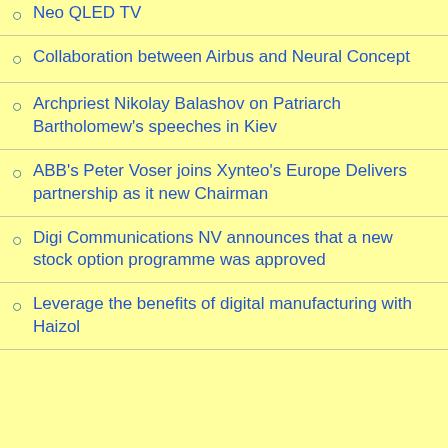Neo QLED TV
Collaboration between Airbus and Neural Concept
Archpriest Nikolay Balashov on Patriarch Bartholomew's speeches in Kiev
ABB's Peter Voser joins Xynteo's Europe Delivers partnership as it new Chairman
Digi Communications NV announces that a new stock option programme was approved
Leverage the benefits of digital manufacturing with Haizol